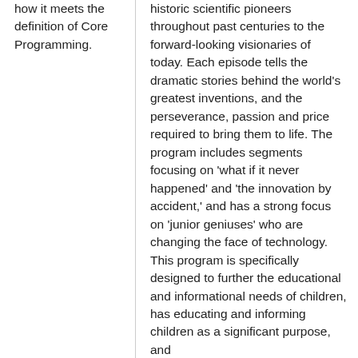how it meets the definition of Core Programming.
historic scientific pioneers throughout past centuries to the forward-looking visionaries of today. Each episode tells the dramatic stories behind the world's greatest inventions, and the perseverance, passion and price required to bring them to life. The program includes segments focusing on 'what if it never happened' and 'the innovation by accident,' and has a strong focus on 'junior geniuses' who are changing the face of technology. This program is specifically designed to further the educational and informational needs of children, has educating and informing children as a significant purpose, and